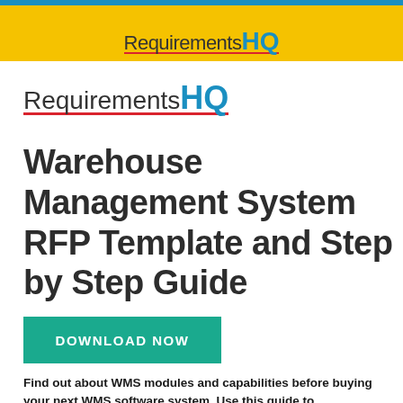[Figure (logo): RequirementsHQ logo on yellow banner with blue top bar]
[Figure (logo): RequirementsHQ logo with red underline, dark text 'Requirements' and blue bold 'HQ']
Warehouse Management System RFP Template and Step by Step Guide
DOWNLOAD NOW
Find out about WMS modules and capabilities before buying your next WMS software system. Use this guide to